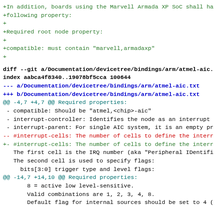+In addition, boards using the Marvell Armada XP SoC shall ha
+following property:
+
+Required root node property:
+
+compatible: must contain "marvell,armadaxp"
+
diff --git a/Documentation/devicetree/bindings/arm/atmel-aic.
index aabca4f8340..19078bf5cca 100644
--- a/Documentation/devicetree/bindings/arm/atmel-aic.txt
+++ b/Documentation/devicetree/bindings/arm/atmel-aic.txt
@@ -4,7 +4,7 @@ Required properties:
- compatible: Should be "atmel,<chip>-aic"
- interrupt-controller: Identifies the node as an interrupt
- interrupt-parent: For single AIC system, it is an empty pr
-- #interrupt-cells: The number of cells to define the interr
+- #interrupt-cells: The number of cells to define the interr
The first cell is the IRQ number (aka "Peripheral IDentifi
The second cell is used to specify flags:
bits[3:0] trigger type and level flags:
@@ -14,7 +14,10 @@ Required properties:
8 = active low level-sensitive.
Valid combinations are 1, 2, 3, 4, 8.
Default flag for internal sources should be set to 4 (